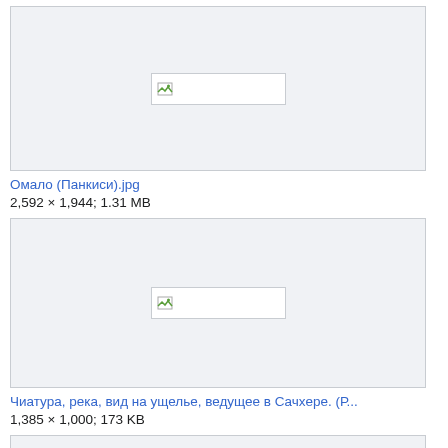[Figure (photo): Broken image placeholder for Омало (Панкиси).jpg]
Омало (Панкиси).jpg
2,592 × 1,944; 1.31 MB
[Figure (photo): Broken image placeholder for Чиатура, река, вид на ущелье, ведущее в Сачхере. (Р...]
Чиатура, река, вид на ущелье, ведущее в Сачхере. (Р...
1,385 × 1,000; 173 KB
[Figure (photo): Broken image placeholder for third image (partial)]